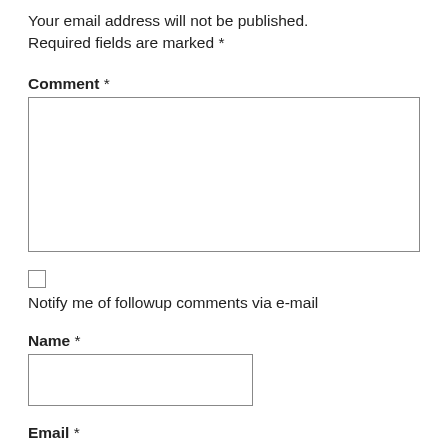Your email address will not be published. Required fields are marked *
Comment *
[Figure (other): Empty comment textarea input box]
[Figure (other): Checkbox input (unchecked)]
Notify me of followup comments via e-mail
Name *
[Figure (other): Name text input box]
Email *